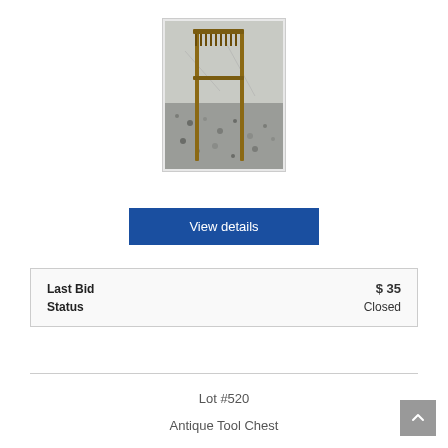[Figure (photo): Photo of antique metal garden rakes or tool frames leaning against a wall on a gravel/concrete surface. The tools appear to be old rusty metal implements photographed outdoors.]
View details
| Last Bid | $ 35 |
| Status | Closed |
Lot #520
Antique Tool Chest